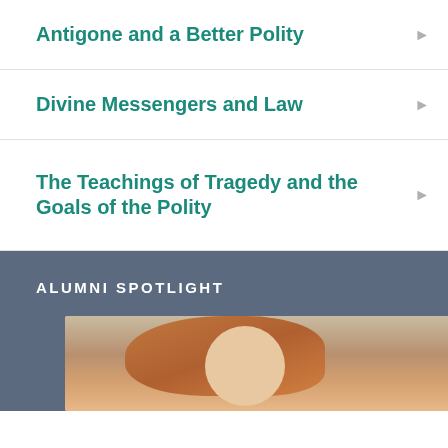Antigone and a Better Polity
Divine Messengers and Law
The Teachings of Tragedy and the Goals of the Polity
ALUMNI SPOTLIGHT
[Figure (photo): Photo of a person with reddish-brown hair, cropped at head level]